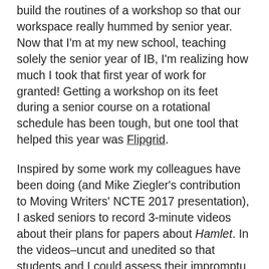build the routines of a workshop so that our workspace really hummed by senior year. Now that I'm at my new school, teaching solely the senior year of IB, I'm realizing how much I took that first year of work for granted! Getting a workshop on its feet during a senior course on a rotational schedule has been tough, but one tool that helped this year was Flipgrid.
Inspired by some work my colleagues have been doing (and Mike Ziegler's contribution to Moving Writers' NCTE 2017 presentation), I asked seniors to record 3-minute videos about their plans for papers about Hamlet. In the videos–uncut and unedited so that students and I could assess their impromptu speaking skills–students had to talk through their brainstorming for the paper. I watched the videos while